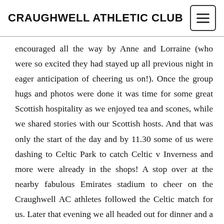CRAUGHWELL ATHLETIC CLUB
encouraged all the way by Anne and Lorraine (who were so excited they had stayed up all previous night in eager anticipation of cheering us on!). Once the group hugs and photos were done it was time for some great Scottish hospitality as we enjoyed tea and scones, while we shared stories with our Scottish hosts. And that was only the start of the day and by 11.30 some of us were dashing to Celtic Park to catch Celtic v Inverness and more were already in the shops! A stop over at the nearby fabulous Emirates stadium to cheer on the Craughwell AC athletes followed the Celtic match for us. Later that evening we all headed out for dinner and a not so early night! Next morning, first stop was the all-important breakfast. Thereafter it appeared the choice was shopping, shopping or